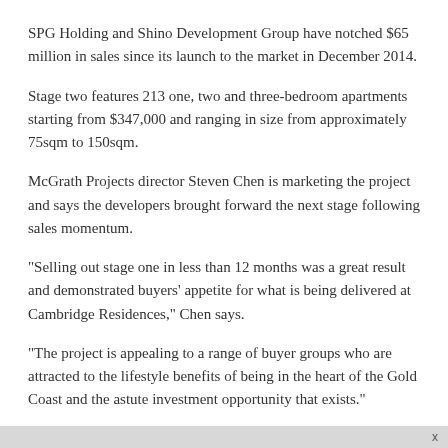SPG Holding and Shino Development Group have notched $65 million in sales since its launch to the market in December 2014.
Stage two features 213 one, two and three-bedroom apartments starting from $347,000 and ranging in size from approximately 75sqm to 150sqm.
McGrath Projects director Steven Chen is marketing the project and says the developers brought forward the next stage following sales momentum.
"Selling out stage one in less than 12 months was a great result and demonstrated buyers' appetite for what is being delivered at Cambridge Residences," Chen says.
"The project is appealing to a range of buyer groups who are attracted to the lifestyle benefits of being in the heart of the Gold Coast and the astute investment opportunity that exists."